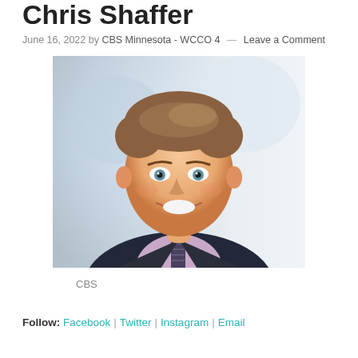Chris Shaffer
June 16, 2022 by CBS Minnesota - WCCO 4 — Leave a Comment
[Figure (photo): Professional headshot of Chris Shaffer, a man in a dark suit jacket, lavender shirt, and striped tie, smiling at the camera against a blurred light blue background.]
CBS
Follow: Facebook | Twitter | Instagram | Email